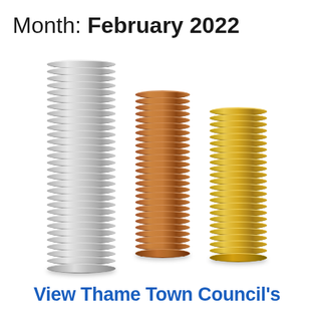Month: February 2022
[Figure (photo): Three stacks of coins arranged side by side: a tall stack of silver coins on the left, a medium stack of copper/bronze coins in the centre, and a medium stack of gold-coloured coins on the right, photographed on a white background.]
View Thame Town Council's